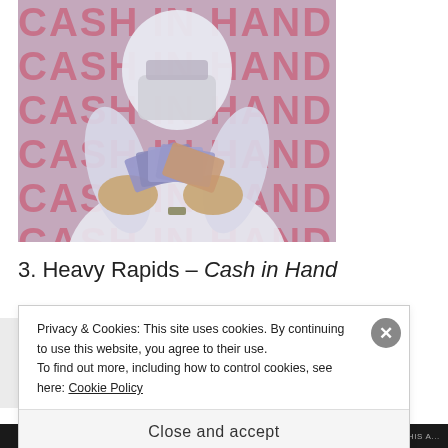[Figure (photo): Person in white hazmat/PPE suit and face mask holding a fan of British pound banknotes, with repeating 'CASH IN HAND' text in pink/mauve in the background]
3. Heavy Rapids – Cash in Hand
Privacy & Cookies: This site uses cookies. By continuing to use this website, you agree to their use. To find out more, including how to control cookies, see here: Cookie Policy
Close and accept